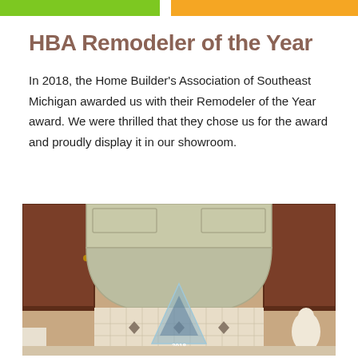[Figure (other): Top navigation bar with green and orange/yellow colored rectangles]
HBA Remodeler of the Year
In 2018, the Home Builder's Association of Southeast Michigan awarded us with their Remodeler of the Year award. We were thrilled that they chose us for the award and proudly display it in our showroom.
[Figure (photo): Kitchen showroom photo featuring wood cabinets, a cream/green range hood with arched design, decorative tile backsplash with diamond accents, and a 2018 award trophy (triangular glass piece) displayed in the foreground on the counter.]